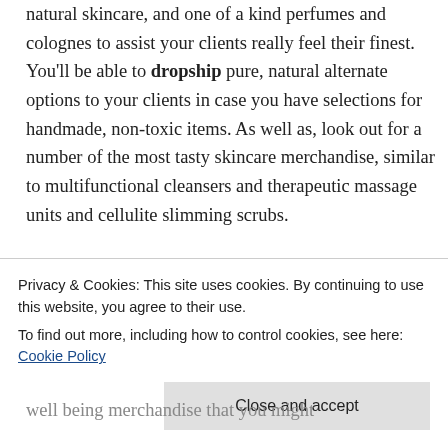natural skincare, and one of a kind perfumes and colognes to assist your clients really feel their finest. You'll be able to dropship pure, natural alternate options to your clients in case you have selections for handmade, non-toxic items. As well as, look out for a number of the most tasty skincare merchandise, similar to multifunctional cleansers and therapeutic massage units and cellulite slimming scrubs.
3  Well being merchandise – Therapeutic
Privacy & Cookies: This site uses cookies. By continuing to use this website, you agree to their use.
To find out more, including how to control cookies, see here: Cookie Policy
well being merchandise that you might